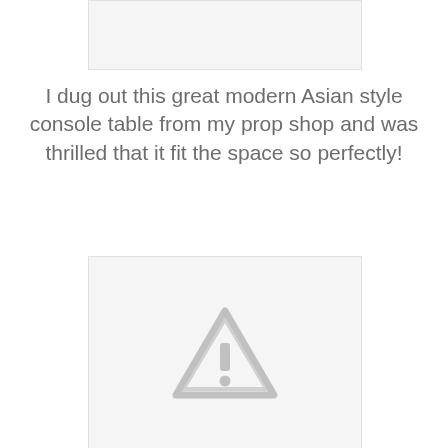[Figure (photo): Top image placeholder box, light gray background]
I dug out this great modern Asian style console table from my prop shop and was thrilled that it fit the space so perfectly!
[Figure (photo): Image placeholder box with warning triangle icon (gray exclamation mark triangle), light gray background]